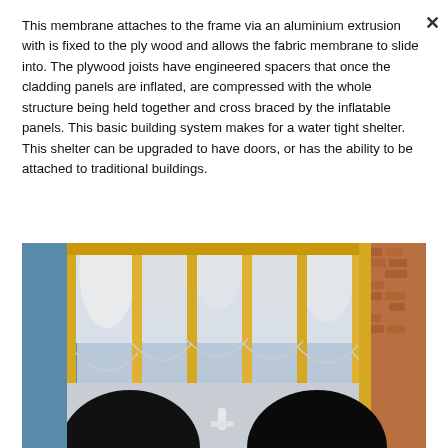This membrane attaches to the frame via an aluminium extrusion with is fixed to the ply wood and allows the fabric membrane to slide into. The plywood joists have engineered spacers that once the cladding panels are inflated, are compressed with the whole structure being held together and cross braced by the inflatable panels. This basic building system makes for a water tight shelter. This shelter can be upgraded to have doors, or has the ability to be attached to traditional buildings.
[Figure (photo): Interior photo of an inflatable building structure showing white curved inflatable panels on the ceiling held by yellow wooden frames/joists. Two large circular black openings visible at the bottom, with blue light visible through openings on the left side and brick wall texture visible on the right.]